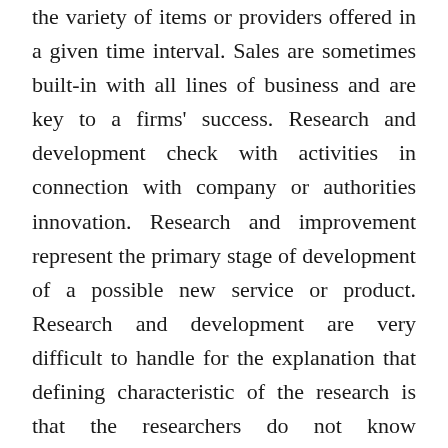the variety of items or providers offered in a given time interval. Sales are sometimes built-in with all lines of business and are key to a firms' success. Research and development check with activities in connection with company or authorities innovation. Research and improvement represent the primary stage of development of a possible new service or product. Research and development are very difficult to handle for the explanation that defining characteristic of the research is that the researchers do not know prematurely exactly how to accomplish the specified outcome.
Our team of impartial researchers consider the business solutions by evaluating costs and features that can help